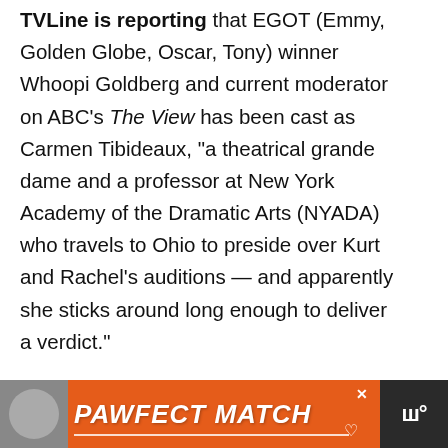TVLine is reporting that EGOT (Emmy, Golden Globe, Oscar, Tony) winner Whoopi Goldberg and current moderator on ABC's The View has been cast as Carmen Tibideaux, "a theatrical grande dame and a professor at New York Academy of the Dramatic Arts (NYADA) who travels to Ohio to preside over Kurt and Rachel's auditions — and apparently she sticks around long enough to deliver a verdict."
[Figure (photo): Partial photo of a person's face visible below the article text, partially cut off]
[Figure (infographic): Bottom advertisement banner: orange background with cat image on left and bold italic white text 'PAWFECT MATCH' with underline, close X button, heart icon, and dark logo on right]